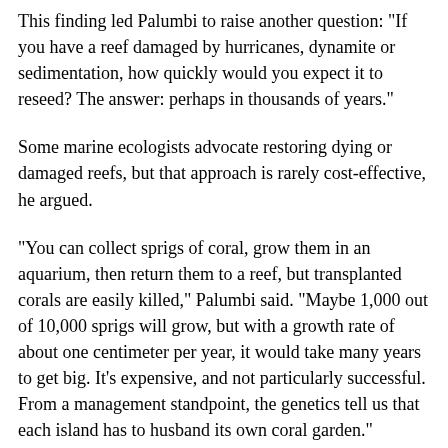This finding led Palumbi to raise another question: "If you have a reef damaged by hurricanes, dynamite or sedimentation, how quickly would you expect it to reseed? The answer: perhaps in thousands of years."
Some marine ecologists advocate restoring dying or damaged reefs, but that approach is rarely cost-effective, he argued.
"You can collect sprigs of coral, grow them in an aquarium, then return them to a reef, but transplanted corals are easily killed," Palumbi said. "Maybe 1,000 out of 10,000 sprigs will grow, but with a growth rate of about one centimeter per year, it would take many years to get big. It's expensive, and not particularly successful. From a management standpoint, the genetics tell us that each island has to husband its own coral garden."
Human dimensions